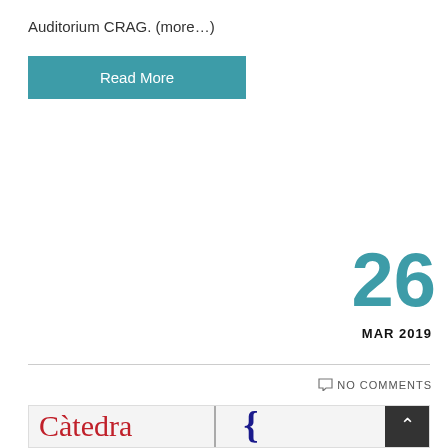Auditorium CRAG. (more…)
Read More
26
MAR 2019
NO COMMENTS
[Figure (logo): Partial logos: Càtedra (in red serif) on the left and Univ / de Gi... (in dark blue serif) on the right, separated by a vertical line, on a light grey background.]